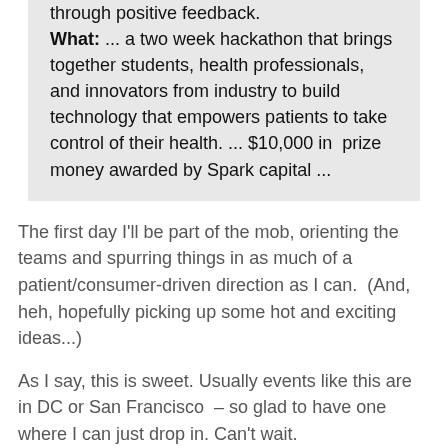through positive feedback.

What: ... a two week hackathon that brings together students, health professionals, and innovators from industry to build technology that empowers patients to take control of their health. ... $10,000 in prize money awarded by Spark capital ...
The first day I'll be part of the mob, orienting the teams and spurring things in as much of a patient/consumer-driven direction as I can. (And, heh, hopefully picking up some hot and exciting ideas...)
As I say, this is sweet. Usually events like this are in DC or San Francisco – so glad to have one where I can just drop in. Can't wait.